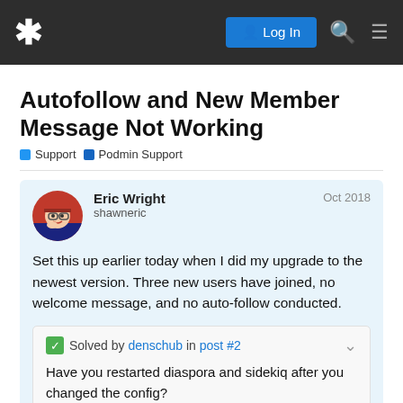* Log In [search] [menu]
Autofollow and New Member Message Not Working
Support  Podmin Support
Eric Wright
shawneric
Oct 2018
Set this up earlier today when I did my upgrade to the newest version. Three new users have joined, no welcome message, and no auto-follow conducted.
✅ Solved by denschub in post #2

Have you restarted diaspora and sidekiq after you changed the config?